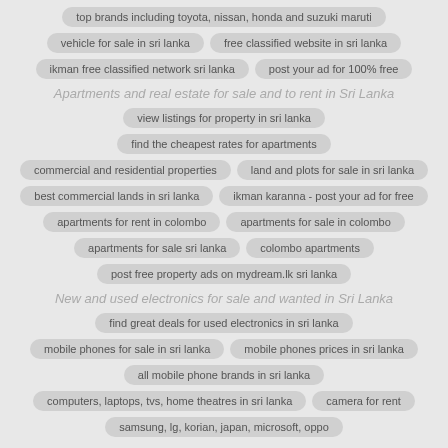top brands including toyota, nissan, honda and suzuki maruti
vehicle for sale in sri lanka
free classified website in sri lanka
ikman free classified network sri lanka
post your ad for 100% free
Apartments and real estate for sale and to rent in Sri Lanka
view listings for property in sri lanka
find the cheapest rates for apartments
commercial and residential properties
land and plots for sale in sri lanka
best commercial lands in sri lanka
ikman karanna - post your ad for free
apartments for rent in colombo
apartments for sale in colombo
apartments for sale sri lanka
colombo apartments
post free property ads on mydream.lk sri lanka
New and used electronics for sale and wanted in Sri Lanka
find great deals for used electronics in sri lanka
mobile phones for sale in sri lanka
mobile phones prices in sri lanka
all mobile phone brands in sri lanka
computers, laptops, tvs, home theatres in sri lanka
camera for rent
samsung, lg, korian, japan, microsoft, oppo